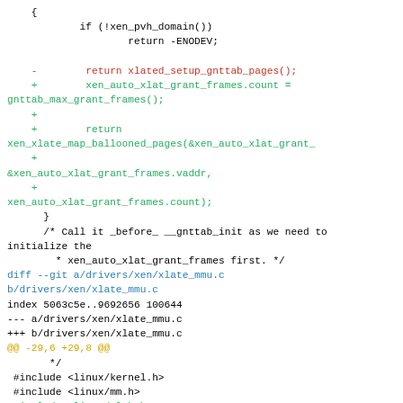Code diff showing changes to xen grant table and xlate_mmu.c files, including removal of xlated_setup_gnttab_pages() and addition of xen_auto_xlat_grant_frames setup and xen_xlate_map_ballooned_pages call, plus new includes for linux/slab.h and linux/vmalloc.h